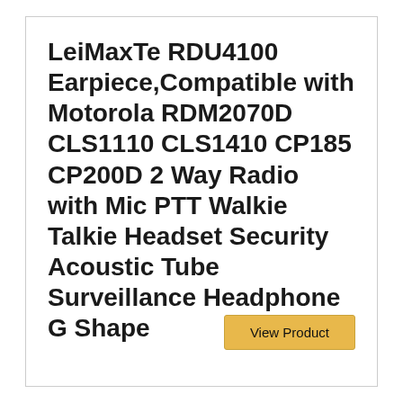LeiMaxTe RDU4100 Earpiece,Compatible with Motorola RDM2070D CLS1110 CLS1410 CP185 CP200D 2 Way Radio with Mic PTT Walkie Talkie Headset Security Acoustic Tube Surveillance Headphone G Shape
View Product